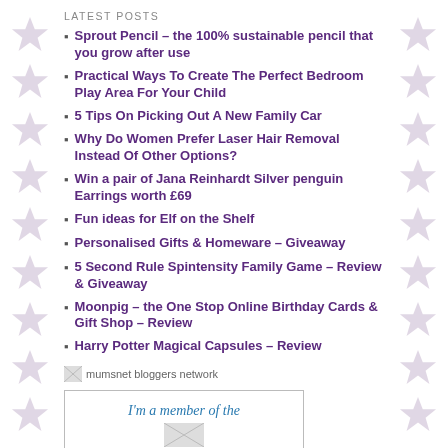LATEST POSTS
Sprout Pencil – the 100% sustainable pencil that you grow after use
Practical Ways To Create The Perfect Bedroom Play Area For Your Child
5 Tips On Picking Out A New Family Car
Why Do Women Prefer Laser Hair Removal Instead Of Other Options?
Win a pair of Jana Reinhardt Silver penguin Earrings worth £69
Fun ideas for Elf on the Shelf
Personalised Gifts & Homeware – Giveaway
5 Second Rule Spintensity Family Game – Review & Giveaway
Moonpig – the One Stop Online Birthday Cards & Gift Shop – Review
Harry Potter Magical Capsules – Review
[Figure (logo): mumsnet bloggers network logo placeholder]
[Figure (other): I'm a member of the ... banner (partially visible)]